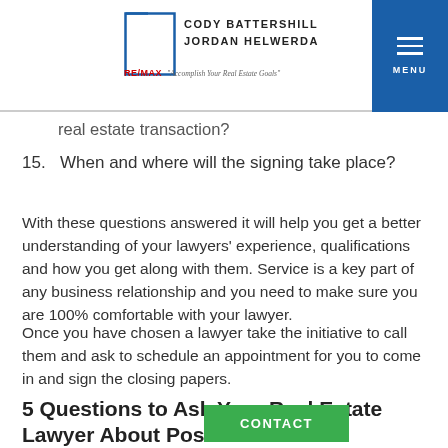CODY BATTERSHILL JORDAN HELWERDA RE/MAX "Accomplish Your Real Estate Goals" MENU
real estate transaction?
15. When and where will the signing take place?
With these questions answered it will help you get a better understanding of your lawyers' experience, qualifications and how you get along with them. Service is a key part of any business relationship and you need to make sure you are 100% comfortable with your lawyer.
Once you have chosen a lawyer take the initiative to call them and ask to schedule an appointment for you to come in and sign the closing papers.
5 Questions to Ask Your Real Estate Lawyer About Possessio